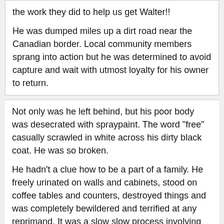the work they did to help us get Walter!! He was dumped miles up a dirt road near the Canadian border. Local community members sprang into action but he was determined to avoid capture and wait with utmost loyalty for his owner to return.
Not only was he left behind, but his poor body was desecrated with spraypaint. The word "free" casually scrawled in white across his dirty black coat. He was so broken.
He hadn't a clue how to be a part of a family. He freely urinated on walls and cabinets, stood on coffee tables and counters, destroyed things and was completely bewildered and terrified at any reprimand. It was a slow slow process involving patients and properly timed rewards.
After three months, we witnessed him sleep in our presence for the first time ever. From that point forward, he began to blossom, taking the ideas of being a house dog in stride.